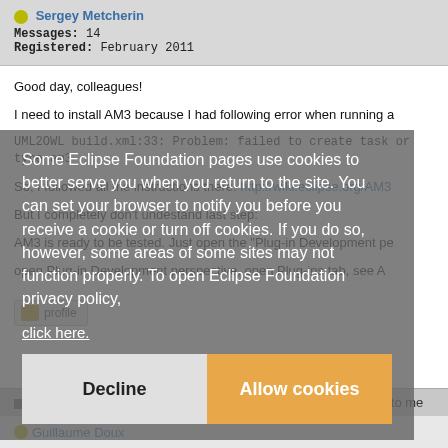Sergey Metcherin
Messages: 14
Registered: February 2011
Good day, colleagues!
I need to install AM3 because I had following error when running a
UML2OWL build.xml:33: Problem: failed to create task or type am3
So, I followed all the instructions there: http://wiki.eclipse.org/AM3
But I completely don't undestand last step:
AM3 is ready to be tested. Just open the "Plug-in Development pe
open Plug-in Development perspective, open Plug-ins tab, see A
Some Eclipse Foundation pages use cookies to better serve you when you return to the site. You can set your browser to notify you before you receive a cookie or turn off cookies. If you do so, however, some areas of some sites may not function properly. To open Eclipse Foundation privacy policy, click here.
Decline
Allow cookies
Re: Newbie: Can't install AM3 [message #658453 is a reply to me
Guillaume Doux